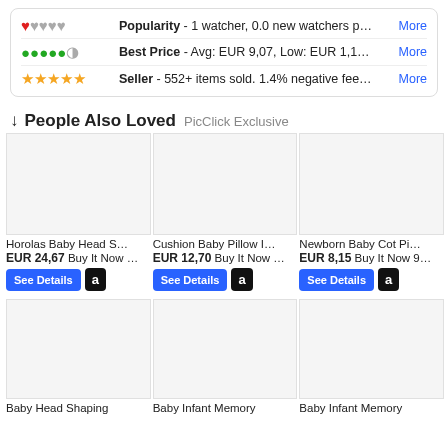Popularity - 1 watcher, 0.0 new watchers p... More
Best Price - Avg: EUR 9,07, Low: EUR 1,1... More
Seller - 552+ items sold. 1.4% negative fee... More
↓ People Also Loved PicClick Exclusive
[Figure (screenshot): Product thumbnail placeholder for Horolas Baby Head S...]
Horolas Baby Head S...
EUR 24,67 Buy It Now ...
See Details [Amazon]
[Figure (screenshot): Product thumbnail placeholder for Cushion Baby Pillow I...]
Cushion Baby Pillow I...
EUR 12,70 Buy It Now ...
See Details [Amazon]
[Figure (screenshot): Product thumbnail placeholder for Newborn Baby Cot Pi...]
Newborn Baby Cot Pi...
EUR 8,15 Buy It Now 9...
See Details [Amazon]
[Figure (screenshot): Product thumbnail placeholder for Baby Head Shaping]
Baby Head Shaping
[Figure (screenshot): Product thumbnail placeholder for Baby Infant Memory]
Baby Infant Memory
[Figure (screenshot): Product thumbnail placeholder for Baby Infant Memory (second)]
Baby Infant Memory